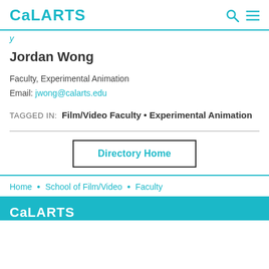CalARTS
y
Jordan Wong
Faculty, Experimental Animation
Email: jwong@calarts.edu
TAGGED IN:  Film/Video Faculty • Experimental Animation
Directory Home
Home • School of Film/Video • Faculty
[Figure (logo): CalArts teal footer logo]